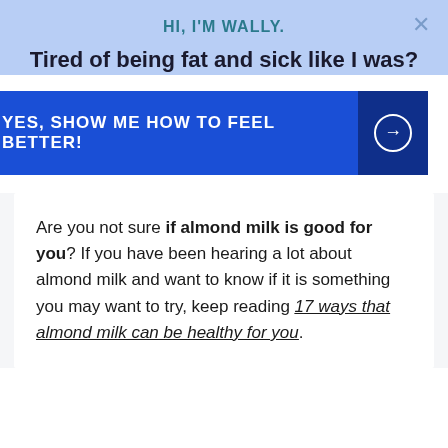HI, I'M WALLY.
Tired of being fat and sick like I was?
YES, SHOW ME HOW TO FEEL BETTER!
Are you not sure if almond milk is good for you? If you have been hearing a lot about almond milk and want to know if it is something you may want to try, keep reading 17 ways that almond milk can be healthy for you.